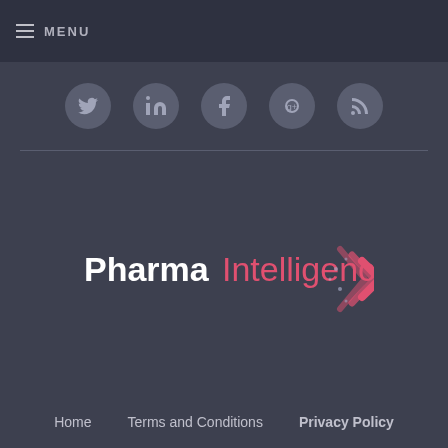MENU
[Figure (illustration): Row of five circular social media icons on dark background]
[Figure (logo): Pharma Intelligence logo with double chevron arrow graphic in pink/red gradient]
Home   Terms and Conditions   Privacy Policy